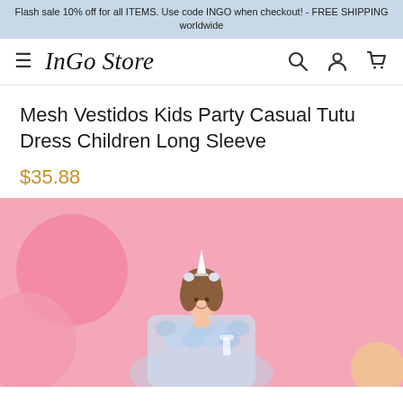Flash sale 10% off for all ITEMS. Use code INGO when checkout! - FREE SHIPPING worldwide
[Figure (logo): InGo Store navigation bar with hamburger menu icon, InGo Store logo in italic serif font, search icon, account icon, and cart icon]
Mesh Vestidos Kids Party Casual Tutu Dress Children Long Sleeve
$35.88
[Figure (photo): A young girl wearing a mermaid-scale patterned long sleeve tutu dress with a unicorn horn headband accessory, smiling against a pink background with balloons]